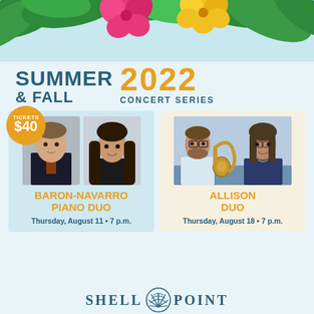[Figure (illustration): Tropical floral banner with green leaves, pink hibiscus and yellow flower against light blue sky background]
SUMMER & FALL 2022 CONCERT SERIES
[Figure (infographic): Orange circular badge with TICKETS $40]
[Figure (photo): Two photos: man in suit (Baron) and woman with long dark hair (Navarro) — Baron-Navarro Piano Duo]
BARON-NAVARRO PIANO DUO
Thursday, August 11 • 7 p.m.
[Figure (photo): Two people: man holding a French horn and woman — Allison Duo]
ALLISON DUO
Thursday, August 18 • 7 p.m.
[Figure (logo): Shell Point logo with shell graphic between SHELL and POINT text]